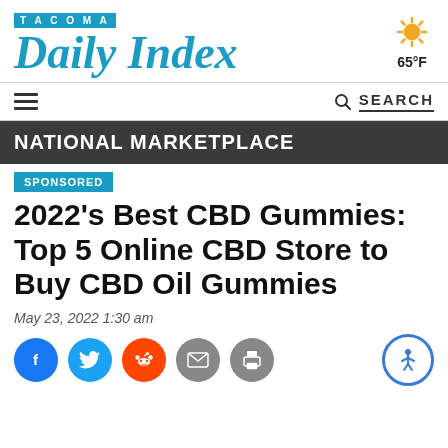TACOMA Daily Index
[Figure (illustration): Sun weather icon with rays, showing 65°F temperature]
[Figure (illustration): Hamburger menu icon (three horizontal lines)]
SEARCH
NATIONAL MARKETPLACE
SPONSORED
2022's Best CBD Gummies: Top 5 Online CBD Store to Buy CBD Oil Gummies
May 23, 2022 1:30 am
[Figure (illustration): Social share buttons: Facebook, Twitter, Reddit, Email, Print icons; Accessibility icon on far right]